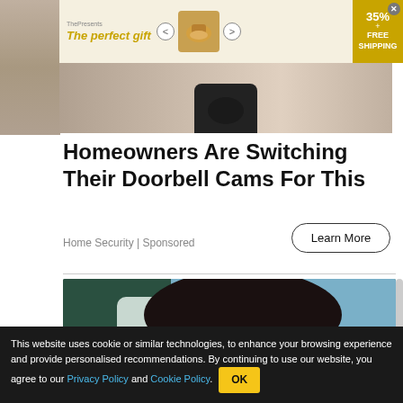[Figure (photo): Advertisement banner showing 'The perfect gift' with product images and '35% FREE SHIPPING' offer]
[Figure (photo): Background image strip showing textured surface with partial robot/device silhouette]
Homeowners Are Switching Their Doorbell Cams For This
Home Security | Sponsored
Learn More
[Figure (photo): Photo of a smiling woman at a dental appointment with a dentist in blue scrubs holding dental instruments]
[Figure (photo): Ad: The Cost of Stair Lifts May Surprise You – Search Ads]
This website uses cookie or similar technologies, to enhance your browsing experience and provide personalised recommendations. By continuing to use our website, you agree to our Privacy Policy and Cookie Policy.  OK